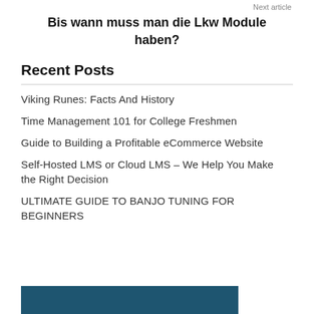Next article
Bis wann muss man die Lkw Module haben?
Recent Posts
Viking Runes: Facts And History
Time Management 101 for College Freshmen
Guide to Building a Profitable eCommerce Website
Self-Hosted LMS or Cloud LMS – We Help You Make the Right Decision
ULTIMATE GUIDE TO BANJO TUNING FOR BEGINNERS
[Figure (other): Dark teal/blue banner image at the bottom of the page]